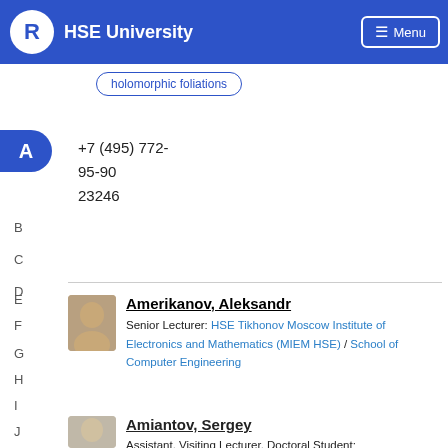HSE University
holomorphic foliations
+7 (495) 772-
95-90
23246
Amerikanov, Aleksandr
Senior Lecturer: HSE Tikhonov Moscow Institute of Electronics and Mathematics (MIEM HSE) / School of Computer Engineering
15140
Amiantov, Sergey
Assistant, Visiting Lecturer, Doctoral Student: